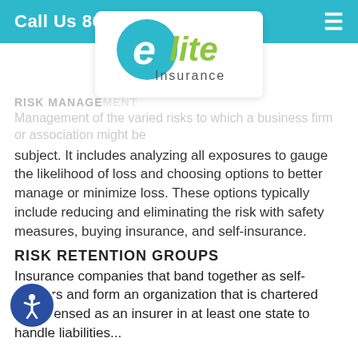Call Us 864-400-9061
[Figure (logo): Elite Insurance logo — teal letter 'e' with green 'lite' text and 'Insurance' underneath]
RISK MANAGEMENT
Management of the varied risks to which a business firm or association might be subject. It includes analyzing all exposures to gauge the likelihood of loss and choosing options to better manage or minimize loss. These options typically include reducing and eliminating the risk with safety measures, buying insurance, and self-insurance.
RISK RETENTION GROUPS
Insurance companies that band together as self-insurers and form an organization that is chartered and licensed as an insurer in at least one state to handle liabilities...